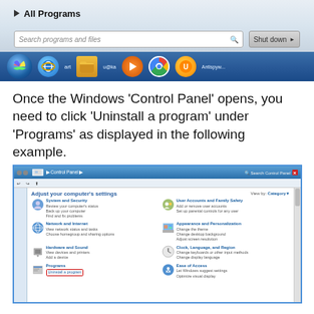[Figure (screenshot): Windows 7 Start Menu showing 'All Programs', a search box labeled 'Search programs and files', a 'Shut down' button, and the taskbar with icons including Internet Explorer, Windows Explorer, Media Player, Chrome, and UC Browser.]
Once the Windows ‘Control Panel’ opens, you need to click ‘Uninstall a program’ under ‘Programs’ as displayed in the following example.
[Figure (screenshot): Windows 7 Control Panel showing categories: System and Security, User Accounts and Family Safety, Network and Internet, Appearance and Personalization, Hardware and Sound, Clock Language and Region, Programs (with 'Uninstall a program' highlighted in a red box), Ease of Access.]
You will see a list of software installed on your PC. We recommend to sort the list by date of installation to quickly find the